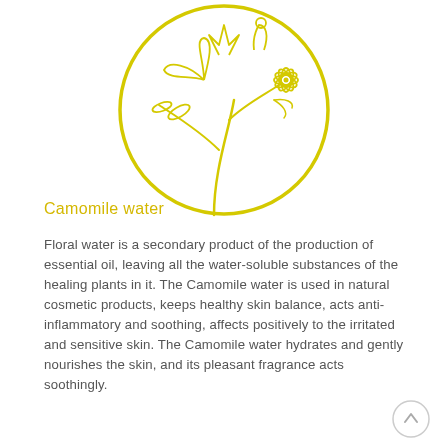[Figure (illustration): Yellow line-art illustration of camomile flowers inside a circle outline, partially cropped at top]
Camomile water
Floral water is a secondary product of the production of essential oil, leaving all the water-soluble substances of the healing plants in it. The Camomile water is used in natural cosmetic products, keeps healthy skin balance, acts anti-inflammatory and soothing, affects positively to the irritated and sensitive skin. The Camomile water hydrates and gently nourishes the skin, and its pleasant fragrance acts soothingly.